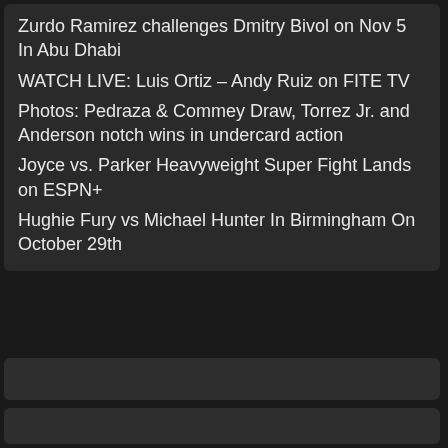Zurdo Ramirez challenges Dmitry Bivol on Nov 5 In Abu Dhabi
WATCH LIVE: Luis Ortiz – Andy Ruiz on FITE TV
Photos: Pedraza & Commey Draw, Torrez Jr. and Anderson notch wins in undercard action
Joyce vs. Parker Heavyweight Super Fight Lands on ESPN+
Hughie Fury vs Michael Hunter In Birmingham On October 29th
[Figure (other): Empty dark bar element 1]
[Figure (other): Empty dark bar element 2]